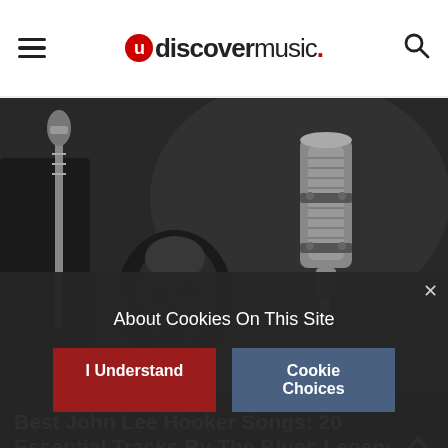udiscovermusic.
[Figure (photo): Black and white photo of John Lee Hooker singing into a vintage microphone in a recording studio]
Best John Lee Hooker Songs: 20 Essential Tracks By The Blues Legend
[Figure (photo): Partial view of a second article card showing a musician and a Chuck Berry album cover]
About Cookies On This Site
I Understand
Cookie Choices